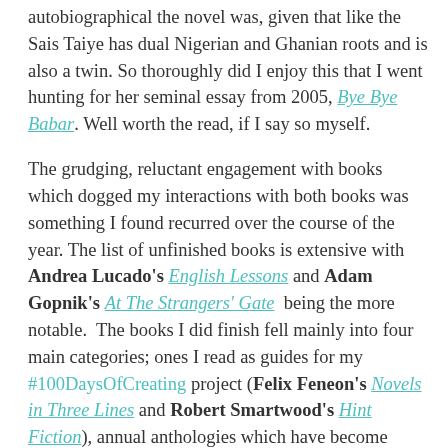autobiographical the novel was, given that like the Sais Taiye has dual Nigerian and Ghanian roots and is also a twin. So thoroughly did I enjoy this that I went hunting for her seminal essay from 2005, Bye Bye Babar. Well worth the read, if I say so myself.
The grudging, reluctant engagement with books which dogged my interactions with both books was something I found recurred over the course of the year. The list of unfinished books is extensive with Andrea Lucado's English Lessons and Adam Gopnik's At The Strangers' Gate being the more notable. The books I did finish fell mainly into four main categories; ones I read as guides for my #100DaysOfCreating project (Felix Feneon's Novels in Three Lines and Robert Smartwood's Hint Fiction), annual anthologies which have become regular fixtures on my reading list (such as the Jonathan Franzen edited 2016 edition of The Best American Essays), personal essay collections (such as